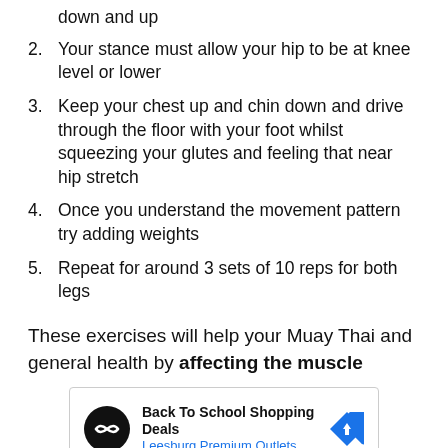down and up
2. Your stance must allow your hip to be at knee level or lower
3. Keep your chest up and chin down and drive through the floor with your foot whilst squeezing your glutes and feeling that near hip stretch
4. Once you understand the movement pattern try adding weights
5. Repeat for around 3 sets of 10 reps for both legs
These exercises will help your Muay Thai and general health by affecting the muscle
[Figure (other): Advertisement banner: Back To School Shopping Deals, Leesburg Premium Outlets, with circular logo and blue direction arrow icon]